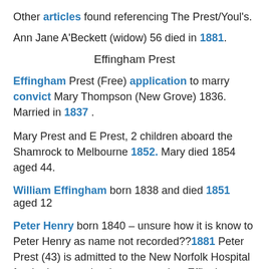Other articles found referencing The Prest/Youl's.
Ann Jane A'Beckett (widow) 56 died in 1881.
Effingham Prest
Effingham Prest (Free) application to marry convict Mary Thompson (New Grove) 1836. Married in 1837 .
Mary Prest and E Prest, 2 children aboard the Shamrock to Melbourne 1852. Mary died 1854 aged 44.
William Effingham born 1838 and died 1851 aged 12
Peter Henry born 1840 – unsure how it is know to Peter Henry as name not recorded??1881 Peter Prest (43) is admitted to the New Norfolk Hospital for the insane – brother – named as Effingham.